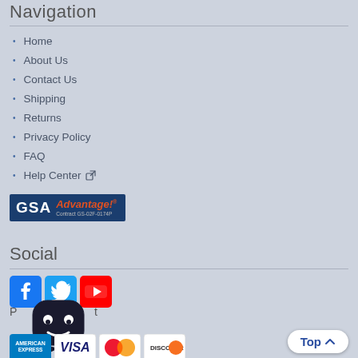Navigation
Home
About Us
Contact Us
Shipping
Returns
Privacy Policy
FAQ
Help Center
[Figure (logo): GSA Advantage! logo with contract number GS-02F-0174P]
Social
[Figure (infographic): Social media icons: Facebook, Twitter, YouTube]
[Figure (infographic): Chat widget with robot/bot face icon]
[Figure (infographic): Payment icons: American Express, Visa, MasterCard, Discover]
Top